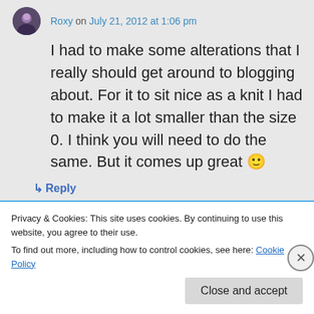Roxy on July 21, 2012 at 1:06 pm
I had to make some alterations that I really should get around to blogging about. For it to sit nice as a knit I had to make it a lot smaller than the size 0. I think you will need to do the same. But it comes up great 🙂
↳ Reply
Privacy & Cookies: This site uses cookies. By continuing to use this website, you agree to their use.
To find out more, including how to control cookies, see here: Cookie Policy
Close and accept